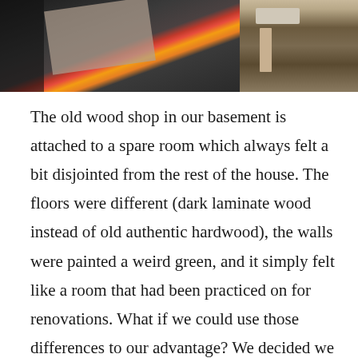[Figure (photo): Two photos side by side: left photo shows tools and materials on a dark workshop surface including what appears to be a tape measure and other workshop items; right photo shows a close-up of a door hinge or hardware fixture on wood.]
The old wood shop in our basement is attached to a spare room which always felt a bit disjointed from the rest of the house. The floors were different (dark laminate wood instead of old authentic hardwood), the walls were painted a weird green, and it simply felt like a room that had been practiced on for renovations. What if we could use those differences to our advantage? We decided we could let even more light in by installing French doors between the rooms, repaint the walls with a cleaner shade (and possibly a mural later on), furnish it with slightly more modern